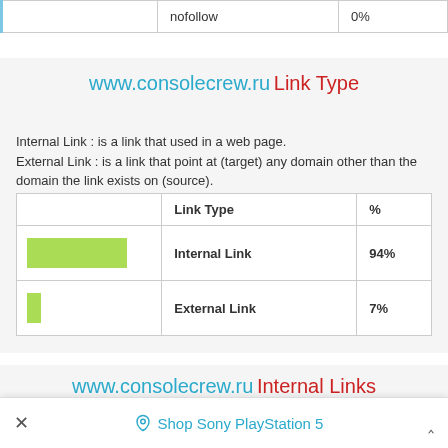|  | nofollow | 0% |
| --- | --- | --- |
www.consolecrew.ru Link Type
Internal Link : is a link that used in a web page.
External Link : is a link that point at (target) any domain other than the domain the link exists on (source).
|  | Link Type | % |
| --- | --- | --- |
| [green bar] | Internal Link | 94% |
| [green bar small] | External Link | 7% |
www.consolecrew.ru Internal Links
× Shop Sony PlayStation 5 ^